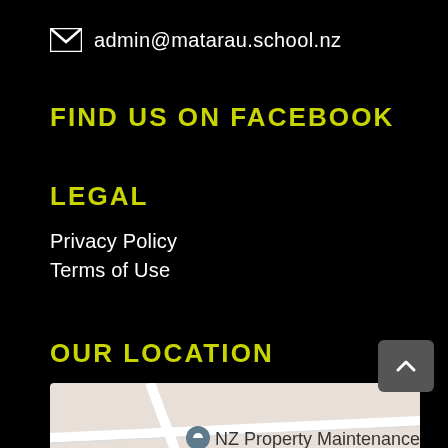admin@matarau.school.nz
FIND US ON FACEBOOK
LEGAL
Privacy Policy
Terms of Use
OUR LOCATION
[Figure (map): Google map showing location with pin labeled NZ Property Maintenance]